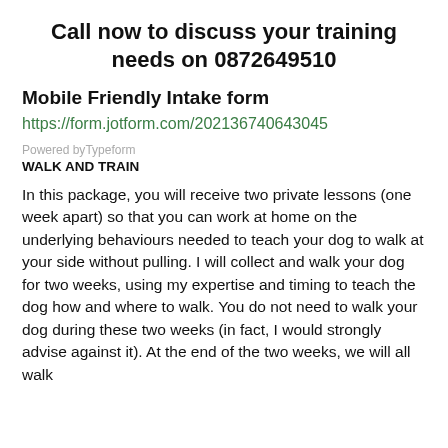Call now to discuss your training needs on 0872649510
Mobile Friendly Intake form
https://form.jotform.com/202136740643045
Powered byTypeform
WALK AND TRAIN
In this package, you will receive two private lessons (one week apart) so that you can work at home on the underlying behaviours needed to teach your dog to walk at your side without pulling.  I will collect and walk your dog for two weeks, using my expertise and timing to teach the dog how and where to walk.  You do not need to walk your dog during these two weeks (in fact, I would strongly advise against it).  At the end of the two weeks, we will all walk